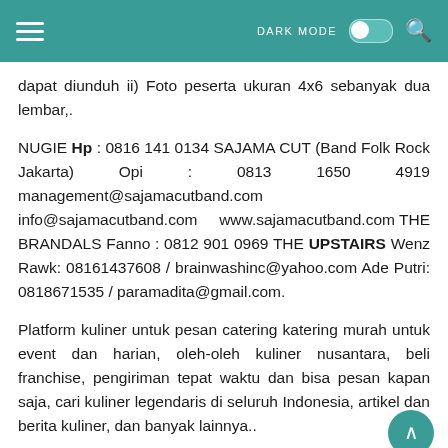DARK MODE
dapat diunduh ii) Foto peserta ukuran 4x6 sebanyak dua lembar,.
NUGIE Hp : 0816 141 0134 SAJAMA CUT (Band Folk Rock Jakarta) Opi : 0813 1650 4919 management@sajamacutband.com info@sajamacutband.com www.sajamacutband.com THE BRANDALS Fanno : 0812 901 0969 THE UPSTAIRS Wenz Rawk: 08161437608 / brainwashinc@yahoo.com Ade Putri: 0818671535 / paramadita@gmail.com.
Platform kuliner untuk pesan catering katering murah untuk event dan harian, oleh-oleh kuliner nusantara, beli franchise, pengiriman tepat waktu dan bisa pesan kapan saja, cari kuliner legendaris di seluruh Indonesia, artikel dan berita kuliner, dan banyak lainnya..